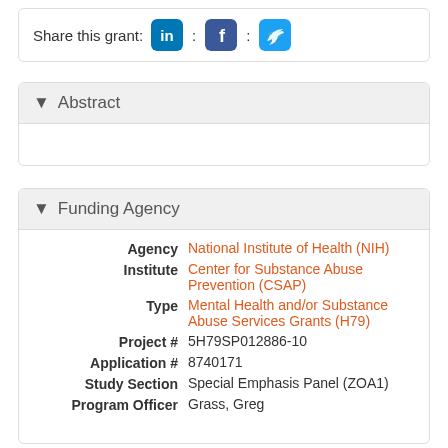Share this grant: [LinkedIn] : [Facebook] : [Twitter]
Abstract
Funding Agency
| Field | Value |
| --- | --- |
| Agency | National Institute of Health (NIH) |
| Institute | Center for Substance Abuse Prevention (CSAP) |
| Type | Mental Health and/or Substance Abuse Services Grants (H79) |
| Project # | 5H79SP012886-10 |
| Application # | 8740171 |
| Study Section | Special Emphasis Panel (ZOA1) |
| Program Officer | Grass, Greg |